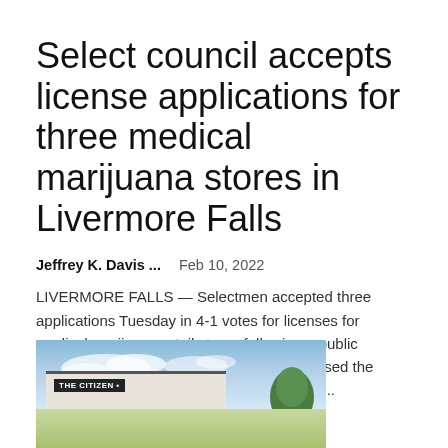Select council accepts license applications for three medical marijuana stores in Livermore Falls
Jeffrey K. Davis ...   Feb 10, 2022
LIVERMORE FALLS — Selectmen accepted three applications Tuesday in 4-1 votes for licenses for medical marijuana retail stores following a public hearing. Vice President Ernie Souther opposed the motions while President Jeffrey Bryant, Jim...
[Figure (photo): Exterior photo of a building with a sign reading 'THE CITIZEN' against a blue sky with clouds and trees in the background]